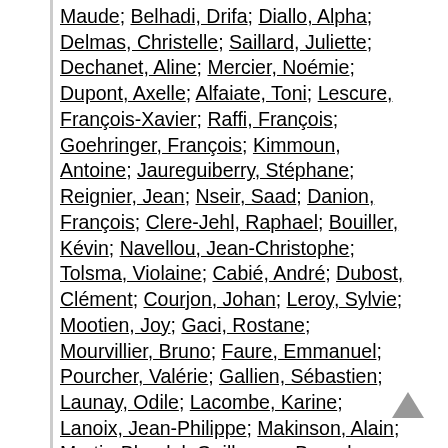Maude; Belhadi, Drifa; Diallo, Alpha; Delmas, Christelle; Saillard, Juliette; Dechanet, Aline; Mercier, Noémie; Dupont, Axelle; Alfaiate, Toni; Lescure, François-Xavier; Raffi, François; Goehringer, François; Kimmoun, Antoine; Jaureguiberry, Stéphane; Reignier, Jean; Nseir, Saad; Danion, François; Clere-Jehl, Raphael; Bouiller, Kévin; Navellou, Jean-Christophe; Tolsma, Violaine; Cabié, André; Dubost, Clément; Courjon, Johan; Leroy, Sylvie; Mootien, Joy; Gaci, Rostane; Mourvillier, Bruno; Faure, Emmanuel; Pourcher, Valérie; Gallien, Sébastien; Launay, Odile; Lacombe, Karine; Lanoix, Jean-Philippe; Makinson, Alain; Martin-Blondel, Guillaume; Bouadma, Lila; Botelho-Nevers, Elisabeth; Gagneux-Brunon, Amandine; Epaulard, Olivier;
[Figure (other): Scroll-to-top arrow icon in bottom right corner]